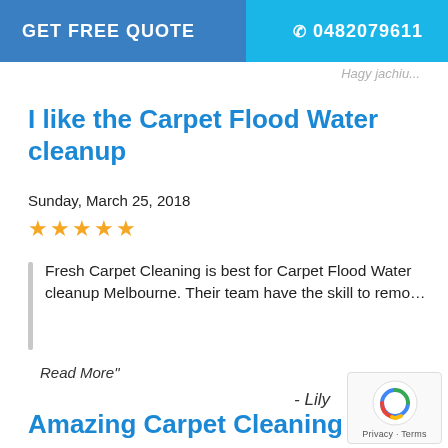GET FREE QUOTE   0482079611
Hagy jachiu...
I like the Carpet Flood Water cleanup
Sunday, March 25, 2018
★★★★★
Fresh Carpet Cleaning is best for Carpet Flood Water cleanup Melbourne. Their team have the skill to remo…
Read More"
- Lily
Amazing Carpet Cleaning